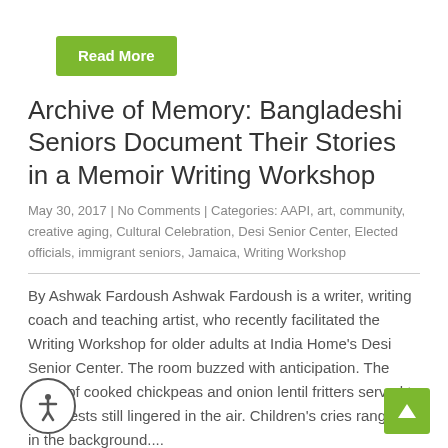Read More
Archive of Memory: Bangladeshi Seniors Document Their Stories in a Memoir Writing Workshop
May 30, 2017 | No Comments | Categories: AAPI, art, community, creative aging, Cultural Celebration, Desi Senior Center, Elected officials, immigrant seniors, Jamaica, Writing Workshop
By Ashwak Fardoush Ashwak Fardoush is a writer, writing coach and teaching artist, who recently facilitated the Writing Workshop for older adults at India Home's Desi Senior Center. The room buzzed with anticipation. The smell of cooked chickpeas and onion lentil fritters served to the guests still lingered in the air. Children's cries rang out in the background....
Read More